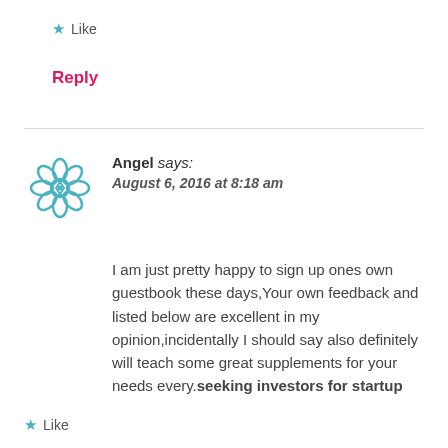★ Like
Reply
Angel says:
August 6, 2016 at 8:18 am
I am just pretty happy to sign up ones own guestbook these days,Your own feedback and listed below are excellent in my opinion,incidentally I should say also definitely will teach some great supplements for your needs every.seeking investors for startup
★ Like